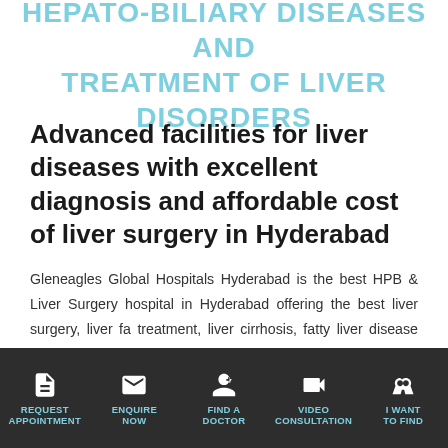HEPATO-BILIARY DISEASES AND TREATMENT OF LIVER DISORDERS
Advanced facilities for liver diseases with excellent diagnosis and affordable cost of liver surgery in Hyderabad
Gleneagles Global Hospitals Hyderabad is the best HPB & Liver Surgery hospital in Hyderabad offering the best liver surgery, liver failure treatment, liver cirrhosis, fatty liver disease and Hepato-Pancreato-Biliary (HPB) Surgery diseases. We have a team of top HPB & Liver Surgeons in Hyderabad providing cutting edge surgical treatments. The hospital is recognized as best HPB & liver surgery hospitals in Hyderabad with world class facilities, state-of-the-art infrastructure and advanced surgical ICUs. The best HPB & Liver surgeons in Hyderabad, working in our
REQUEST APPOINTMENT | ENQUIRE NOW | FIND A DOCTOR | VIDEO CONSULTATION | I WANT TO FIND